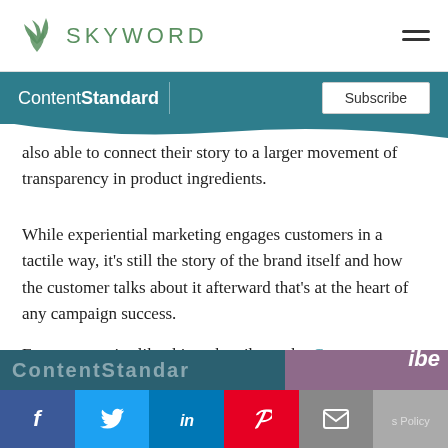SKYWORD
also able to connect their story to a larger movement of transparency in product ingredients.
While experiential marketing engages customers in a tactile way, it's still the story of the brand itself and how the customer talks about it afterward that's at the heart of any campaign success.
For more stories like this, subscribe to the Content Standard newsletter.
ContentStandard | Subscribe | Facebook | Twitter | LinkedIn | Pinterest | Email | s Policy